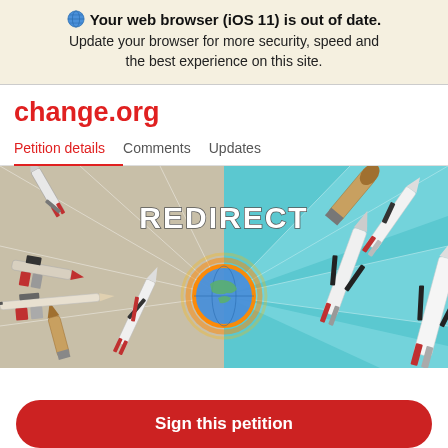🌐 Your web browser (iOS 11) is out of date. Update your browser for more security, speed and the best experience on this site.
change.org
Petition details   Comments   Updates
[Figure (illustration): Petition header image showing rockets and missiles surrounding a globe of Earth at center, with the word REDIRECT in white bold text, split between a sandy/grey background on the left and a teal/blue background on the right.]
Sign this petition